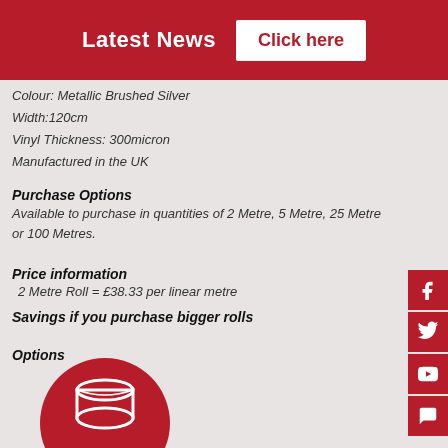Latest News  Click here
Colour: Metallic Brushed Silver
Width:120cm
Vinyl Thickness: 300micron
Manufactured in the UK
Purchase Options
Available to purchase in quantities of 2 Metre, 5 Metre, 25 Metre or 100 Metres.
Price information
2 Metre Roll  = £38.33 per linear metre
Savings if you purchase bigger rolls
Options
[Figure (illustration): Red circle with a white roll/spool icon inside]